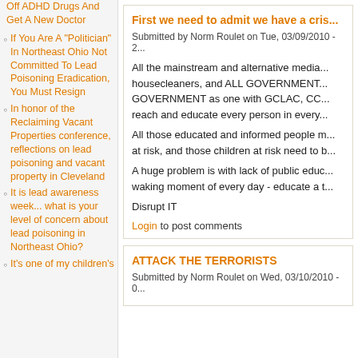Off ADHD Drugs And Get A New Doctor
If You Are A "Politician" In Northeast Ohio Not Committed To Lead Poisoning Eradication, You Must Resign
In honor of the Reclaiming Vacant Properties conference, reflections on lead poisoning and vacant property in Cleveland
It is lead awareness week... what is your level of concern about lead poisoning in Northeast Ohio?
It's one of my children's
First we need to admit we have a cris...
Submitted by Norm Roulet on Tue, 03/09/2010 - 2...
All the mainstream and alternative media... housecleaners, and ALL GOVERNMENT... GOVERNMENT as one with GCLAC, CC... reach and educate every person in every...
All those educated and informed people m... at risk, and those children at risk need to b...
A huge problem is with lack of public educ... waking moment of every day - educate a t...
Disrupt IT
Login to post comments
ATTACK THE TERRORISTS
Submitted by Norm Roulet on Wed, 03/10/2010 - 0...